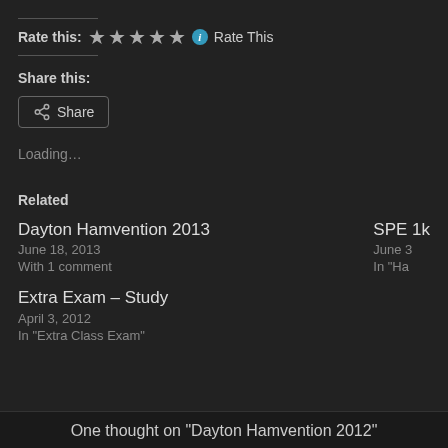Rate this: ★★★★★ ℹ Rate This
Share this:
Share
Loading...
Related
Dayton Hamvention 2013
June 18, 2013
With 1 comment
SPE 1k
June 3
In "Ha
Extra Exam – Study
April 3, 2012
In "Extra Class Exam"
One thought on "Dayton Hamvention 2012"